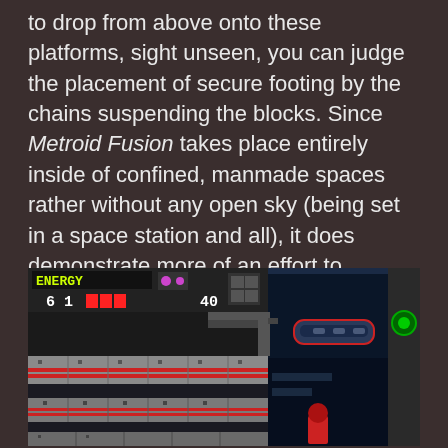to drop from above onto these platforms, sight unseen, you can judge the placement of secure footing by the chains suspending the blocks. Since Metroid Fusion takes place entirely inside of confined, manmade spaces rather without any open sky (being set in a space station and all), it does demonstrate more of an effort to reconcile the placement of platforms with the logic of architecture. It's no Castlevania, but it does the trick.
[Figure (screenshot): Screenshot from the video game Metroid Fusion showing a side-scrolling platformer level with a HUD at the top displaying ENERGY: 61 and a health bar with 40 missiles. The level shows dark blue rooms, grey metallic platforms with red horizontal stripes, and architectural elements typical of a space station environment.]